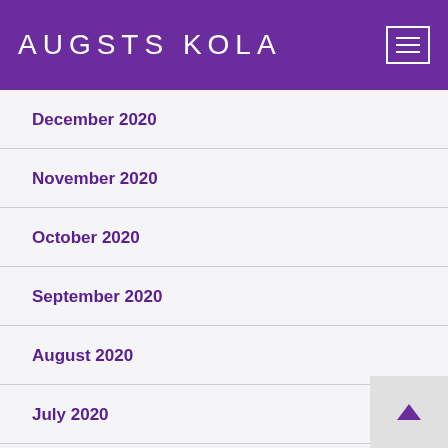AUGSTS KOLA
December 2020
November 2020
October 2020
September 2020
August 2020
July 2020
June 2020